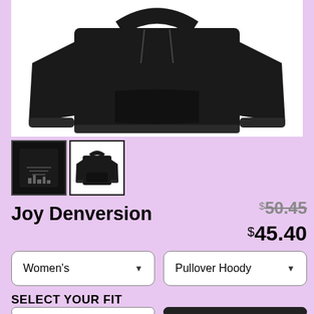[Figure (photo): Black pullover hoodie product photo on white background]
[Figure (photo): Small thumbnail showing back graphic of hoodie]
[Figure (photo): Small thumbnail showing front of black pullover hoodie, currently selected]
Joy Denversion
$50.45 (strikethrough original price)
$45.40 (sale price)
Women's (dropdown)
Pullover Hoody (dropdown)
SELECT YOUR FIT